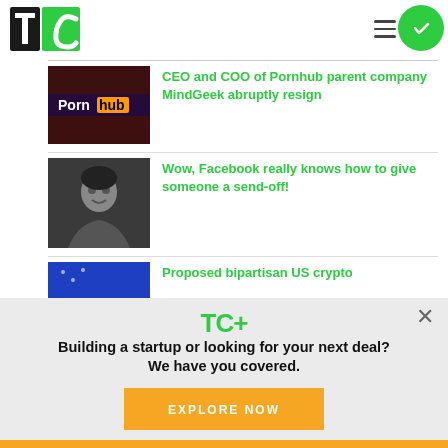TechCrunch — TC
CEO and COO of Pornhub parent company MindGeek abruptly resign
Wow, Facebook really knows how to give someone a send-off!
Proposed bipartisan US crypto
Building a startup or looking for your next deal? We have you covered.
EXPLORE NOW